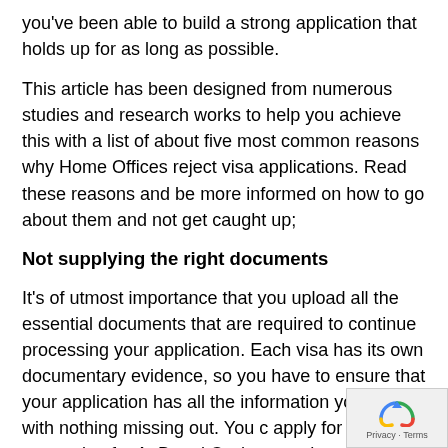you've been able to build a strong application that holds up for as long as possible.
This article has been designed from numerous studies and research works to help you achieve this with a list of about five most common reasons why Home Offices reject visa applications. Read these reasons and be more informed on how to go about them and not get caught up;
Not supplying the right documents
It's of utmost importance that you upload all the essential documents that are required to continue processing your application. Each visa has its own documentary evidence, so you have to ensure that your application has all the information you have, with nothing missing out. You c apply for a visa requesting for A, B and C when you hav and E documents.